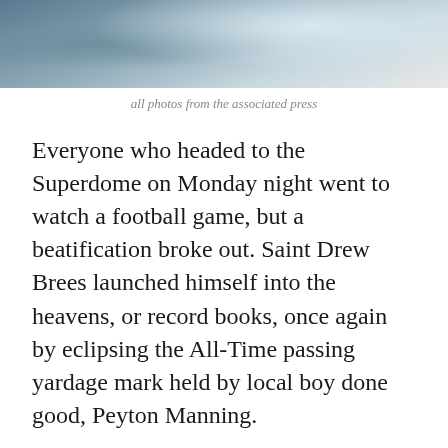[Figure (photo): Sports photo showing a football player in white jersey at the top of the page]
all photos from the associated press
Everyone who headed to the Superdome on Monday night went to watch a football game, but a beatification broke out. Saint Drew Brees launched himself into the heavens, or record books, once again by eclipsing the All-Time passing yardage mark held by local boy done good, Peyton Manning.
Brees' name is splattered all over the NFL record books and assuming he plays another